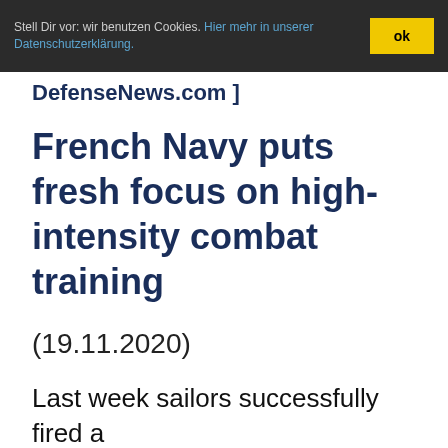Stell Dir vor: wir benutzen Cookies. Hier mehr in unserer Datenschutzerklärung. ok
DefenseNews.com ]
French Navy puts fresh focus on high-intensity combat training
(19.11.2020)
Last week sailors successfully fired a